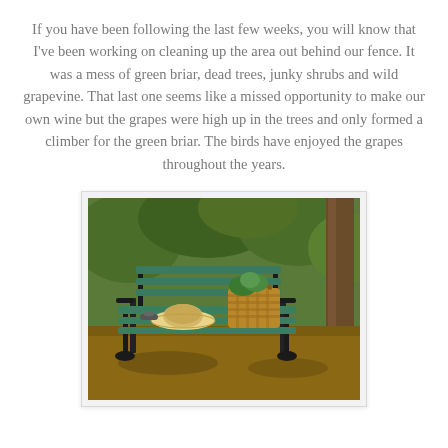If you have been following the last few weeks, you will know that I've been working on cleaning up the area out behind our fence. It was a mess of green briar, dead trees, junky shrubs and wild grapevine. That last one seems like a missed opportunity to make our own wine but the grapes were high up in the trees and only formed a climber for the green briar. The birds have enjoyed the grapes throughout the years.
[Figure (photo): A green wooden garden bench with black ornate metal legs and armrests, placed outdoors in a wooded/garden area. On the bench sits a straw sun hat and a wicker basket with green plants. The background shows dense green foliage and a tree trunk.]